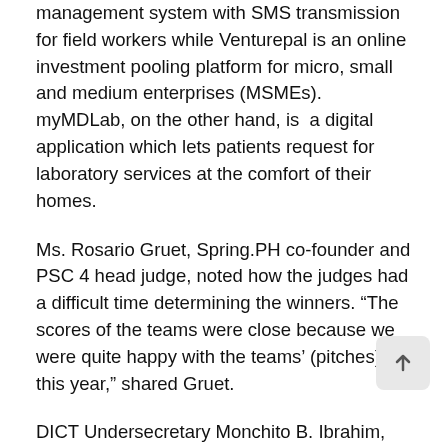management system with SMS transmission for field workers while Venturepal is an online investment pooling platform for micro, small and medium enterprises (MSMEs). myMDLab, on the other hand, is a digital application which lets patients request for laboratory services at the comfort of their homes.
Ms. Rosario Gruet, Spring.PH co-founder and PSC 4 head judge, noted how the judges had a difficult time determining the winners. “The scores of the teams were close because we were quite happy with the teams’ (pitches) this year,” shared Gruet.
DICT Undersecretary Monchito B. Ibrahim, Mr. Jojo Flores (Launchgarage), Mr. Butch Meily (Ideaspace Foundation Inc.), and Mr. Wellington Liu (Huawei Philippines) constitute the board of judges.
In his keynote speech, OIC Secretary Eliseo M. Rio Jr.